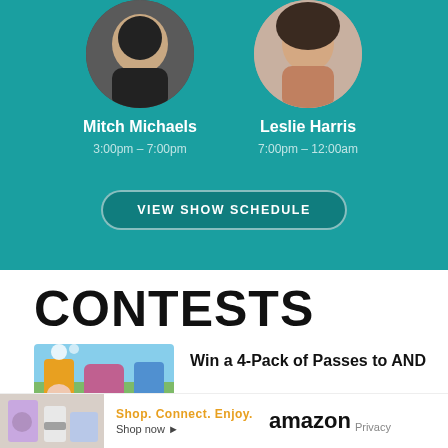[Figure (photo): Two circular portrait photos of radio hosts on a teal background. Left: Mitch Michaels (man in dark clothing). Right: Leslie Harris (woman with dark hair smiling).]
Mitch Michaels
3:00pm – 7:00pm
Leslie Harris
7:00pm – 12:00am
VIEW SHOW SCHEDULE
CONTESTS
[Figure (photo): Contest image showing children's TV characters and colorful scene.]
Win a 4-Pack of Passes to AND
[Figure (advertisement): Amazon ad: Shop. Connect. Enjoy. Shop now. Amazon logo. Privacy link.]